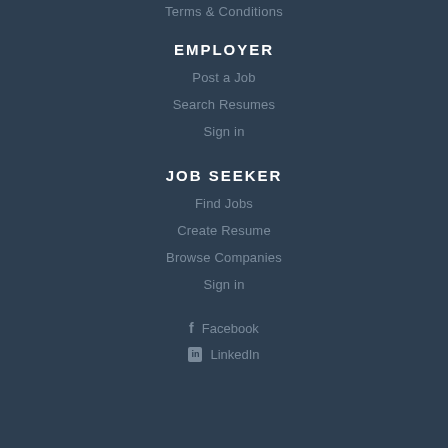Terms & Conditions
EMPLOYER
Post a Job
Search Resumes
Sign in
JOB SEEKER
Find Jobs
Create Resume
Browse Companies
Sign in
Facebook
LinkedIn